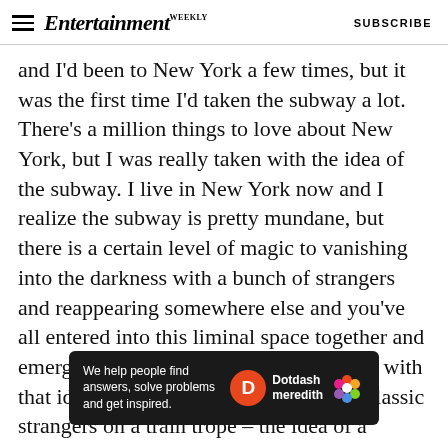Entertainment Weekly — SUBSCRIBE
and I'd been to New York a few times, but it was the first time I'd taken the subway a lot. There's a million things to love about New York, but I was really taken with the idea of the subway. I live in New York now and I realize the subway is pretty mundane, but there is a certain level of magic to vanishing into the darkness with a bunch of strangers and reappearing somewhere else and you've all entered into this liminal space together and emerged together. I was really fascinated with that idea, and I was fascinated with the classic strangers on a train trope – the idea of a
[Figure (infographic): Advertisement banner for Dotdash Meredith with text 'We help people find answers, solve problems and get inspired.' alongside the Dotdash Meredith logo with a red circle D icon and colorful flower icon.]